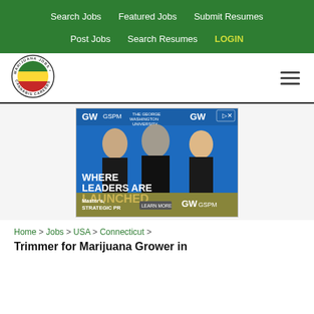Search Jobs  Featured Jobs  Submit Resumes  Post Jobs  Search Resumes  LOGIN
[Figure (logo): Marijuana Jobs Cannabis Careers circular logo with green, yellow, red stripe design]
[Figure (photo): GW GSPM George Washington University advertisement - WHERE LEADERS ARE LAUNCHED - Master's, STRATEGIC PR - three women in front of GW branded backdrop]
Home > Jobs > USA > Connecticut >
Trimmer for Marijuana Grower in